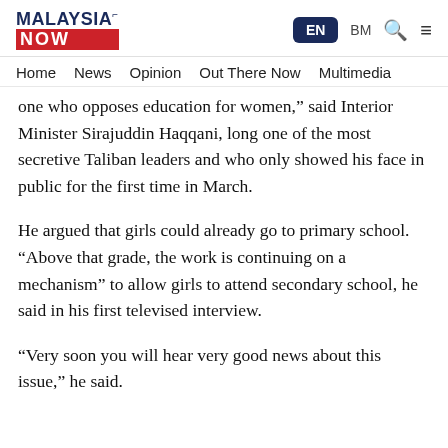MALAYSIA NOW | EN | BM | Search | Menu
Home | News | Opinion | Out There Now | Multimedia
one who opposes education for women,” said Interior Minister Sirajuddin Haqqani, long one of the most secretive Taliban leaders and who only showed his face in public for the first time in March.
He argued that girls could already go to primary school. “Above that grade, the work is continuing on a mechanism” to allow girls to attend secondary school, he said in his first televised interview.
“Very soon you will hear very good news about this issue,” he said.